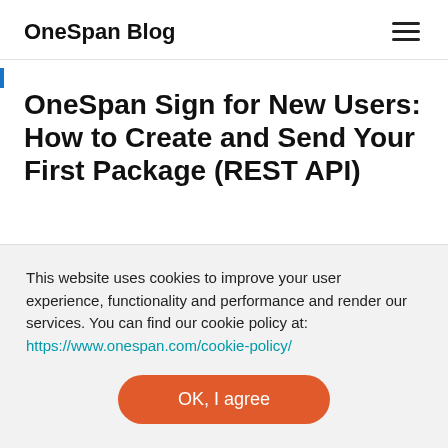OneSpan Blog
OneSpan Sign for New Users: How to Create and Send Your First Package (REST API)
This website uses cookies to improve your user experience, functionality and performance and render our services. You can find our cookie policy at: https://www.onespan.com/cookie-policy/
OK, I agree